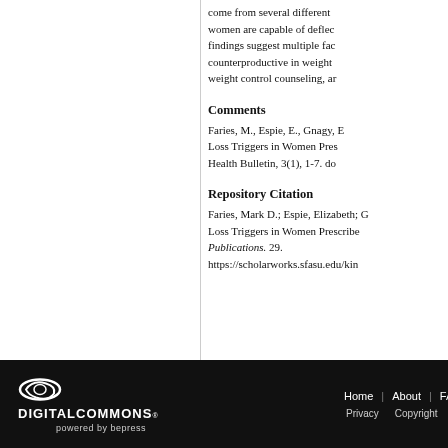come from several different women are capable of deflec findings suggest multiple fac counterproductive in weight weight control counseling, ar
Comments
Faries, M., Espie, E., Gnagy, E Loss Triggers in Women Pres Health Bulletin, 3(1), 1-7. do
Repository Citation
Faries, Mark D.; Espie, Elizabeth; G Loss Triggers in Women Prescribe Publications. 29.
https://scholarworks.sfasu.edu/kin
DIGITAL COMMONS powered by bepress | Home | About | FAQ | My | Privacy | Copyright